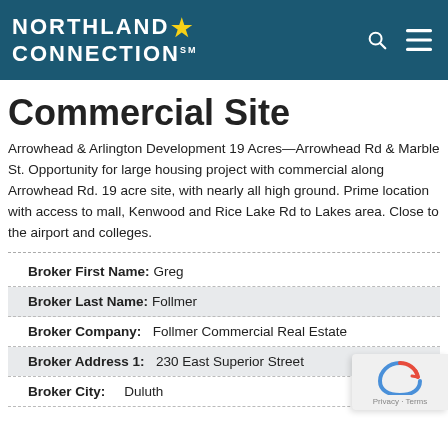[Figure (logo): Northland Connection logo with star, white text on teal background, search and menu icons]
Commercial Site
Arrowhead & Arlington Development 19 Acres—Arrowhead Rd & Marble St. Opportunity for large housing project with commercial along Arrowhead Rd. 19 acre site, with nearly all high ground. Prime location with access to mall, Kenwood and Rice Lake Rd to Lakes area. Close to the airport and colleges.
| Field | Value |
| --- | --- |
| Broker First Name: | Greg |
| Broker Last Name: | Follmer |
| Broker Company: | Follmer Commercial Real Estate |
| Broker Address 1: | 230 East Superior Street |
| Broker City: | Duluth |